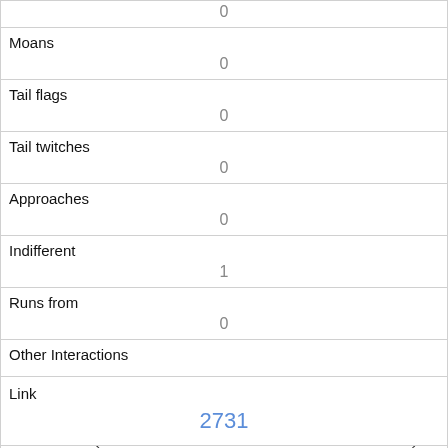|  | 0 |
| Moans | 0 |
| Tail flags | 0 |
| Tail twitches | 0 |
| Approaches | 0 |
| Indifferent | 1 |
| Runs from | 0 |
| Other Interactions |  |
| Lat/Long | POINT (-73.9590992841423 40.793758098573) |
| Link | 2731 |